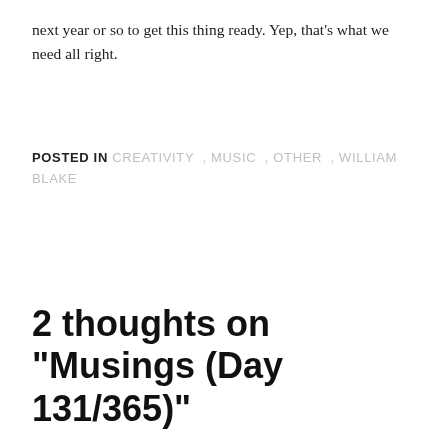next year or so to get this thing ready. Yep, that's what we need all right.
POSTED IN CREATIVITY , MUSIC , OTHER , WILLIAM BLAKE
2 thoughts on “Musings (Day 131/365)”